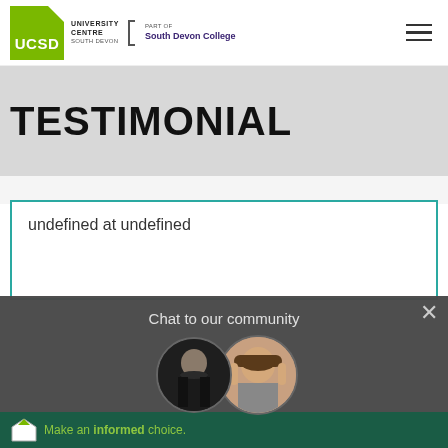[Figure (logo): UCSD University Centre South Devon logo with Part of South Devon College branding]
TESTIMONIAL
undefined at undefined
Chat to our community
[Figure (photo): Two circular avatar photos of students - a boy in dark clothing and a girl with bangs]
To see official information for this course and others visit Discover Uni.
Chat now
Make an informed choice.